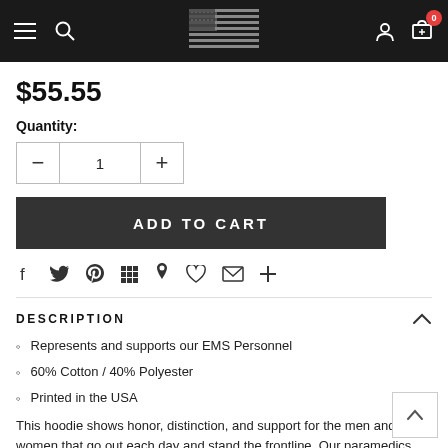Navigation bar with hamburger menu, search, US flag logo, user icon, cart (0)
$55.55
Quantity:
ADD TO CART
Social share icons: Facebook, Twitter, Pinterest, Grid, Fancy, Heart, Email, Plus
DESCRIPTION
Represents and supports our EMS Personnel
60% Cotton / 40% Polyester
Printed in the USA
This hoodie shows honor, distinction, and support for the men and women that go out each day and stand the frontline. Our paramedics